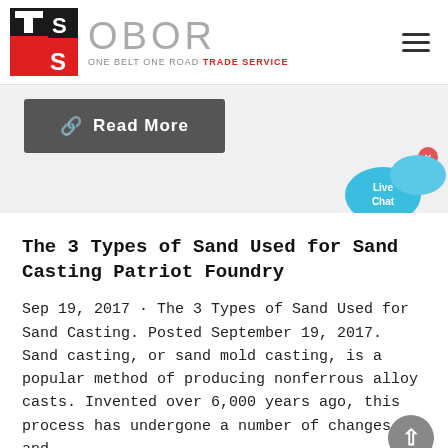[Figure (logo): OBOR Trade Service logo with red and black TS icon and grey OBOR text with tagline ONE BELT ONE ROAD TRADE SERVICE]
Read More
[Figure (illustration): Live Chat speech bubble widget in blue]
The 3 Types of Sand Used for Sand Casting Patriot Foundry
Sep 19, 2017 · The 3 Types of Sand Used for Sand Casting. Posted September 19, 2017. Sand casting, or sand mold casting, is a popular method of producing nonferrous alloy casts. Invented over 6,000 years ago, this process has undergone a number of changes and